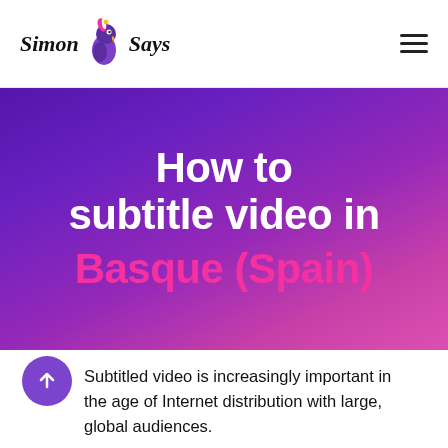Simon Says
How to subtitle video in Basque (Spain)
Subtitled video is increasingly important in the age of Internet distribution with large, global audiences.